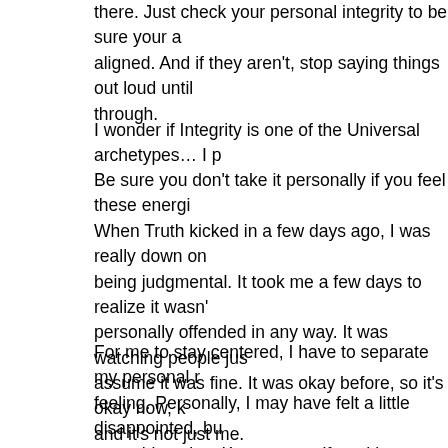there. Just check your personal integrity to be sure your a... aligned. And if they aren't, stop saying things out loud until... through.
I wonder if Integrity is one of the Universal archetypes… I p...
Be sure you don't take it personally if you feel these energi... When Truth kicked in a few days ago, I was really down on... being judgmental. It took me a few days to realize it wasn'... personally offended in any way. It was watching people jus... assume it was fine. It was okay before, so it's okay now, k... and it's not just me.
For me to stay centered, I have to separate my personal r... feeling. Personally, I may have felt a little disappointed, bu... something else. Know yourself, and know what isn't yours.... anything) needs to be done to quiet the roar. Maybe just fe... required. We are all changing the world just by the energy w...